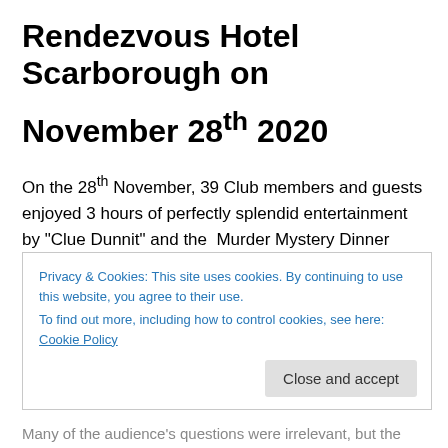Rendezvous Hotel Scarborough on November 28th 2020
On the 28th November, 39 Club members and guests enjoyed 3 hours of perfectly splendid entertainment by “Clue Dunnit” and the  Murder Mystery Dinner Theatre.
This was held at the Rendezvous  Hotel Scarborough with the diners’ dress being formal 1930’s to fit in with the
Privacy & Cookies: This site uses cookies. By continuing to use this website, you agree to their use.
To find out more, including how to control cookies, see here: Cookie Policy
Close and accept
Many of the audience’s questions were irrelevant, but the